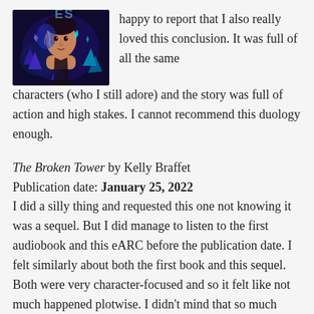[Figure (illustration): Book cover illustration showing a stylized figure with blue/purple sci-fi digital elements and glowing crystals in the background]
happy to report that I also really loved this conclusion. It was full of all the same characters (who I still adore) and the story was full of action and high stakes. I cannot recommend this duology enough.
The Broken Tower by Kelly Braffet
Publication date: January 25, 2022
I did a silly thing and requested this one not knowing it was a sequel. But I did manage to listen to the first audiobook and this eARC before the publication date. I felt similarly about both the first book and this sequel. Both were very character-focused and so it felt like not much happened plotwise. I didn't mind that so much with the first book, but it was a little annoying for this sequel because there wasn't much pushing the story